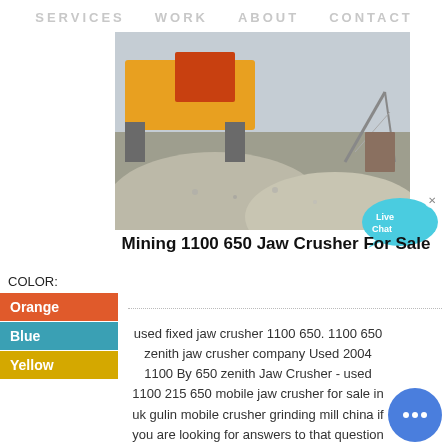SERVICES  WORK    ABOUT  CONTACT
[Figure (photo): Mining jaw crusher machine at a quarry site with piles of crushed stone/gravel and industrial equipment including yellow and orange machinery.]
[Figure (illustration): Live Chat bubble icon in cyan/blue color with 'Live Chat' text and an X close button.]
Mining 1100 650 Jaw Crusher For Sale
COLOR:
Orange
Blue
Yellow
used fixed jaw crusher 1100 650. 1100 650 zenith jaw crusher company Used 2004 1100 By 650 zenith Jaw Crusher - used 1100 215 650 mobile jaw crusher for sale in uk gulin mobile crusher grinding mill china if you are looking for answers to that question visit
[Figure (illustration): Round blue chat button with ellipsis/dots icon.]